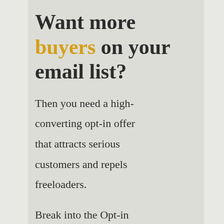Want more buyers on your email list?
Then you need a high-converting opt-in offer that attracts serious customers and repels freeloaders.
Break into the Opt-in Idea Bank & explore